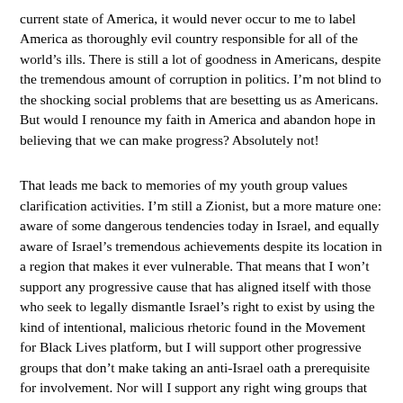current state of America, it would never occur to me to label America as thoroughly evil country responsible for all of the world's ills. There is still a lot of goodness in Americans, despite the tremendous amount of corruption in politics. I'm not blind to the shocking social problems that are besetting us as Americans. But would I renounce my faith in America and abandon hope in believing that we can make progress? Absolutely not!
That leads me back to memories of my youth group values clarification activities. I'm still a Zionist, but a more mature one: aware of some dangerous tendencies today in Israel, and equally aware of Israel's tremendous achievements despite its location in a region that makes it ever vulnerable. That means that I won't support any progressive cause that has aligned itself with those who seek to legally dismantle Israel's right to exist by using the kind of intentional, malicious rhetoric found in the Movement for Black Lives platform, but I will support other progressive groups that don't make taking an anti-Israel oath a prerequisite for involvement. Nor will I support any right wing groups that dismiss the reality that Israel occupies territories that have a Palestinian majority who are ultimately entitled to statehood (which every Israeli government has affirmed, since the Oslo accords in 1993 to this very day) or refuse to take greater steps to increase chances for